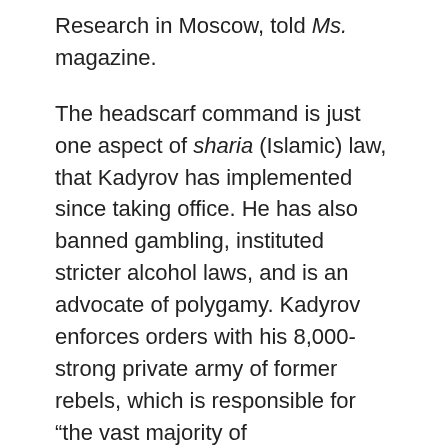Research in Moscow, told Ms. magazine.
The headscarf command is just one aspect of sharia (Islamic) law, that Kadyrov has implemented since taking office. He has also banned gambling, instituted stricter alcohol laws, and is an advocate of polygamy. Kadyrov enforces orders with his 8,000-strong private army of former rebels, which is responsible for “the vast majority of disappearances” documented by Human Rights Watch and Russian human rights group Memorial.
Experts say Kadyrov’s confirmation as Chechen prime minister marks a return to the cultural repression characteristic of life in the Chechen Republic of Ichkeria, Chechnya’s name under